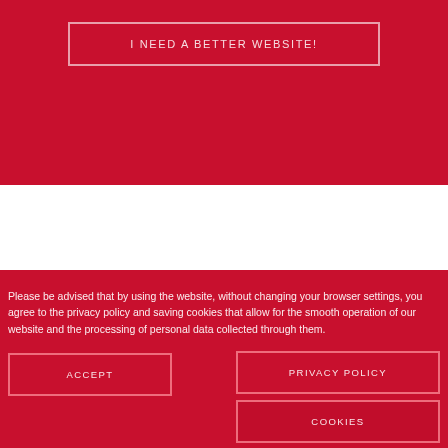I NEED A BETTER WEBSITE!
Please be advised that by using the website, without changing your browser settings, you agree to the privacy policy and saving cookies that allow for the smooth operation of our website and the processing of personal data collected through them.
ACCEPT
PRIVACY POLICY
COOKIES